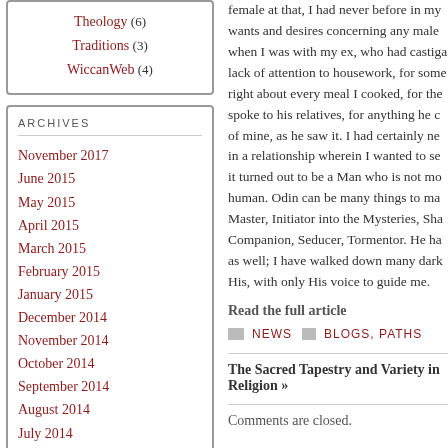Theology (6)
Traditions (3)
WiccanWeb (4)
ARCHIVES
November 2017
June 2015
May 2015
April 2015
March 2015
February 2015
January 2015
December 2014
November 2014
October 2014
September 2014
August 2014
July 2014
June 2014
May 2014
female at that, I had never before in my wants and desires concerning any male when I was with my ex, who had castigated lack of attention to housework, for some right about every meal I cooked, for the spoke to his relatives, for anything he could of mine, as he saw it. I had certainly never in a relationship wherein I wanted to see it turned out to be a Man who is not more human. Odin can be many things to man: Master, Initiator into the Mysteries, Sha Companion, Seducer, Tormentor. He has as well; I have walked down many dark His, with only His voice to guide me.
Read the full article
NEWS  BLOGS, PATHS
The Sacred Tapestry and Variety in Religion »
Comments are closed.